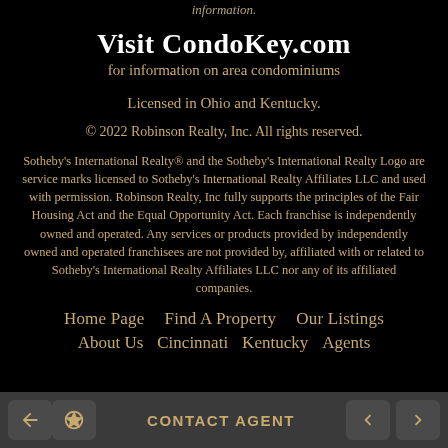information.
Visit CondoKey.com
for information on area condominiums
Licensed in Ohio and Kentucky.
© 2022 Robinson Realty, Inc. All rights reserved.
Sotheby's International Realty® and the Sotheby's International Realty Logo are service marks licensed to Sotheby's International Realty Affiliates LLC and used with permission. Robinson Realty, Inc fully supports the principles of the Fair Housing Act and the Equal Opportunity Act. Each franchise is independently owned and operated. Any services or products provided by independently owned and operated franchisees are not provided by, affiliated with or related to Sotheby's International Realty Affiliates LLC nor any of its affiliated companies.
Home Page   Find A Property   Our Listings
About Us   Cincinnati   Kentucky   Agents
CONTACT AGENT